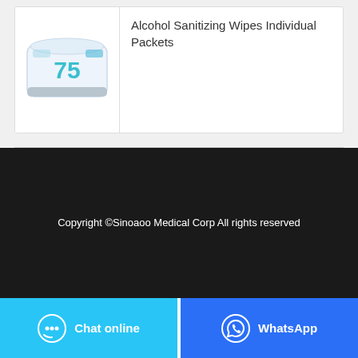[Figure (photo): Alcohol sanitizing wipes product package — white soft pack with blue '75' branding and silver strip at bottom]
Alcohol Sanitizing Wipes Individual Packets
Copyright ©Sinoaoo Medical Corp All rights reserved
Chat online
WhatsApp